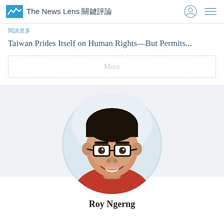The News Lens 關鍵評論
閱讀更多
Taiwan Prides Itself on Human Rights—But Permits...
More
[Figure (photo): Circular headshot photo of Roy Ngerng, a young Asian man with black-rimmed glasses and a red shirt, smiling, against a light background.]
Roy Ngerng